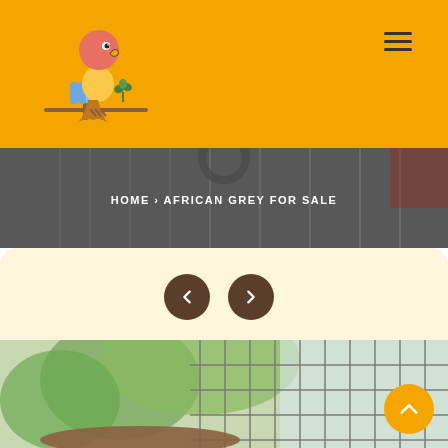[Figure (logo): Colorful parrot logo sitting on a branch with a small plant, outline style with orange/yellow/pink/blue colors]
[Figure (illustration): Hamburger menu icon (three horizontal lines) in top right of orange header]
[Figure (photo): Hero banner background photo showing a bird cage/aviary setting, greyish tones]
HOME > AFRICAN GREY FOR SALE
[Figure (illustration): Left and right carousel navigation arrow buttons (dark brown circles with chevrons) on a light yellow card background]
[Figure (photo): Product image showing a bird cage with greenery visible, bottom portion cut off]
[Figure (illustration): Orange circular back-to-top button with upward chevron arrow, bottom right corner]